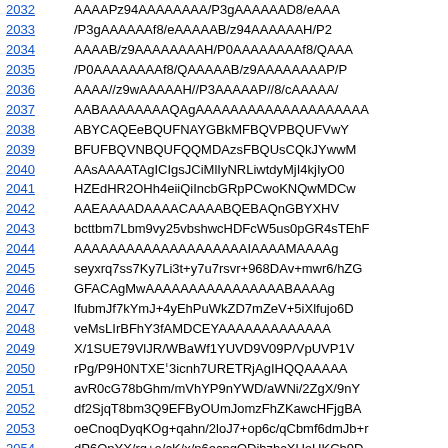| ID | Data |
| --- | --- |
| 2032 | AAAAPz94AAAAAAAA/P3gAAAAAAD8/eAAA |
| 2033 | /P3gAAAAAAf8/eAAAAAB/z94AAAAAAH/P2 |
| 2034 | AAAAB/z9AAAAAAAAH/P0AAAAAAAAf8/QAAA |
| 2035 | /P0AAAAAAAAf8/QAAAAAB/z9AAAAAAAAP/P |
| 2036 | AAAA//z9wAAAAAH//P3AAAAAP//8/cAAAAA/ |
| 2037 | AABAAAAAAAAQAgAAAAAAAAAAAAAAAAAAAA |
| 2038 | ABYCAQEeBQUFNAYGBkMFBQVPBQUFVwY |
| 2039 | BFUFBQVNBQUFQQMDAzsFBQUsCQkJYwwM |
| 2040 | AAsAAAATAgICIgsJCiMlIyNRLiwtdyMjI4kjIyO0 |
| 2041 | HZEdHR2OHh4eiiQiIncbGRpPCwoKNQwMDCw |
| 2042 | AAEAAAADAAAACAAAABQEBAQnGBYXHV |
| 2043 | bcttbm7Lbm9vy25vbshwcHDFcW5us0pGR4sTEhF |
| 2044 | AAAAAAAAAAAAAAAAAAAAIAAAAMAAAAg |
| 2045 | seyxrq7ss7Ky7Li3t+y7u7rsvr+968DAv+mwr6/hZG |
| 2046 | GFACAgMwAAAAAAAAAAAAAAAABAAAAg |
| 2047 | lfubmJf7kYmJ+4yEhPuWkZD7mZeV+5iXlfujo6D |
| 2048 | veMsLIrBFhY3fAMDCEYAAAAAAAAAAAAA |
| 2049 | X/1SUE79VlJR/WBaWf1YUVD9V09P/VpUVP1V |
| 2050 | rPg/P9H0NTXEˈ3icnh7URETRjAgIHQQAAAAA |
| 2051 | avR0cG78bGhm/mVhYP9nYWD/aWNi/2ZgX/9nY |
| 2052 | df2SjqT8bm3Q9EFByOUmJomzFhZKawcHFjgBA |
| 2053 | oeCnoqDyqKOg+qahn/2loJ7+op6c/qCbmf6dmJb+r |
| 2054 | dP6QpYX/rq+o/cK/x/p6ecnqODihzhcXUoUKCh9D |
| 2055 | jZrX19LbwL2487eurfzEurr9x729/sW6u/7DuLj+wr |
| 2056 | u/7CuLf+r6Wj/qihn//NzMb63Nzf8XFyosUjI1h/CQ |